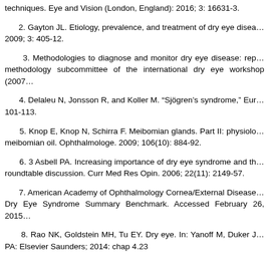techniques. Eye and Vision (London, England): 2016; 3: 16631-3.
2. Gayton JL. Etiology, prevalence, and treatment of dry eye disease. 2009; 3: 405-12.
3. Methodologies to diagnose and monitor dry eye disease: report of the methodology subcommittee of the international dry eye workshop (2007).
4. Delaleu N, Jonsson R, and Koller M. "Sjögren's syndrome," European Journal. 101-113.
5. Knop E, Knop N, Schirra F. Meibomian glands. Part II: physiology of meibomian oil. Ophthalmologe. 2009; 106(10): 884-92.
6. 3 Asbell PA. Increasing importance of dry eye syndrome and the roundtable discussion. Curr Med Res Opin. 2006; 22(11): 2149-57.
7. American Academy of Ophthalmology Cornea/External Disease Panel. Dry Eye Syndrome Summary Benchmark. Accessed February 26, 2015.
8. Rao NK, Goldstein MH, Tu EY. Dry eye. In: Yanoff M, Duker J. PA: Elsevier Saunders; 2014: chap 4.23